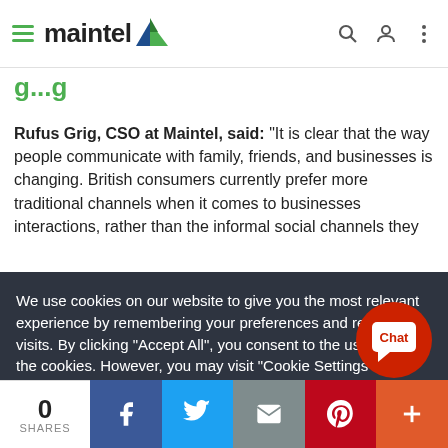maintel (navigation bar with hamburger menu, logo, search, user, and more icons)
g...g (partial green heading, cut off)
Rufus Grig, CSO at Maintel, said: “It is clear that the way people communicate with family, friends, and businesses is changing. British consumers currently prefer more traditional channels when it comes to businesses interactions, rather than the informal social channels they
We use cookies on our website to give you the most relevant experience by remembering your preferences and repeat visits. By clicking “Accept All”, you consent to the use of ALL the cookies. However, you may visit "Cookie Settings" to provide a controlled consent.
Cookie Settings | Accept All
[Figure (illustration): Red circular Chat button with speech bubble icon in bottom right]
0 SHARES | Facebook | Twitter | Email | Pinterest | More